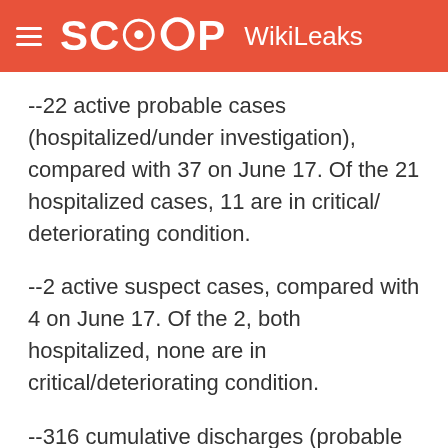SCOOP WikiLeaks
--22 active probable cases (hospitalized/under investigation), compared with 37 on June 17. Of the 21 hospitalized cases, 11 are in critical/ deteriorating condition.
--2 active suspect cases, compared with 4 on June 17. Of the 2, both hospitalized, none are in critical/deteriorating condition.
--316 cumulative discharges (probable and suspect), compared with 299 on June 17.
--379 cumulative cases (probable/suspect/ fatalities)